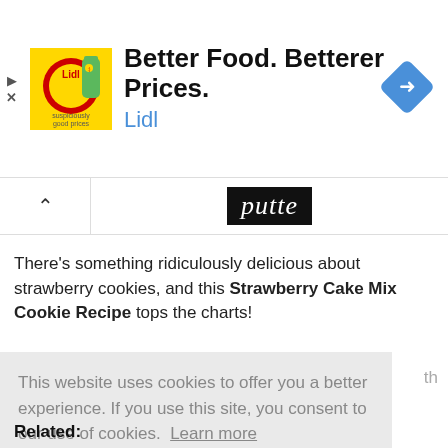[Figure (screenshot): Lidl advertisement banner with yellow/green logo, text 'Better Food. Betterer Prices. Lidl' and a blue diamond navigation icon on the right. Play and X icons on the left edge.]
[Figure (screenshot): Navigation bar with up-arrow chevron button on left and partial 'putte' logo text in black box on right]
There's something ridiculously delicious about strawberry cookies, and this Strawberry Cake Mix Cookie Recipe tops the charts!
This website uses cookies to offer you a better experience. If you use this site, you consent to our use of cookies. Learn more
I Agree
Related: